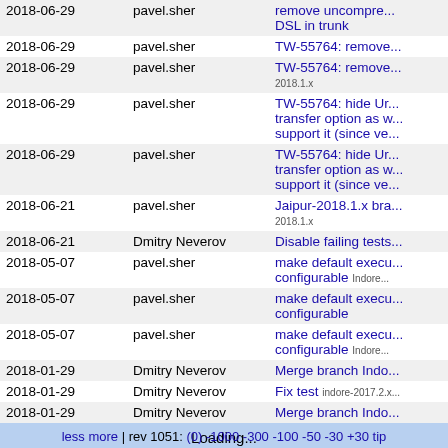| Date | Author | Message |
| --- | --- | --- |
| 2018-06-29 | pavel.sher | remove uncompre... DSL in trunk |
| 2018-06-29 | pavel.sher | TW-55764: remove... |
| 2018-06-29 | pavel.sher | TW-55764: remove... 2018.1.x |
| 2018-06-29 | pavel.sher | TW-55764: hide Ur... transfer option as w... support it (since ve... |
| 2018-06-29 | pavel.sher | TW-55764: hide Ur... transfer option as w... support it (since ve... |
| 2018-06-21 | pavel.sher | Jaipur-2018.1.x bra... 2018.1.x |
| 2018-06-21 | Dmitry Neverov | Disable failing tests... |
| 2018-05-07 | pavel.sher | make default execu... configurable  Indore... |
| 2018-05-07 | pavel.sher | make default execu... configurable |
| 2018-05-07 | pavel.sher | make default execu... configurable  Indore... |
| 2018-01-29 | Dmitry Neverov | Merge branch Indo... |
| 2018-01-29 | Dmitry Neverov | Fix test  indore-2017.2.x... |
| 2018-01-29 | Dmitry Neverov | Merge branch Indo... |
|  |  | Loading... |
less more | rev 1051: (0) -1000 -300 -100 -50 -30 +30 tip